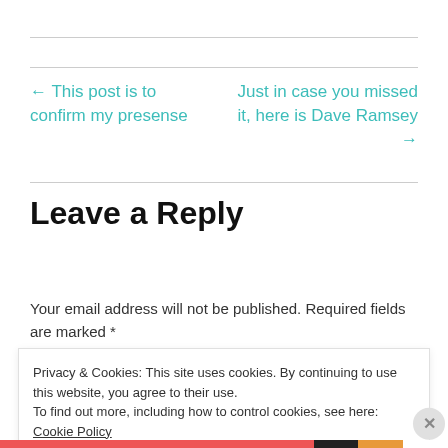← This post is to confirm my presense
Just in case you missed it, here is Dave Ramsey →
Leave a Reply
Your email address will not be published. Required fields are marked *
Privacy & Cookies: This site uses cookies. By continuing to use this website, you agree to their use.
To find out more, including how to control cookies, see here: Cookie Policy
Close and accept